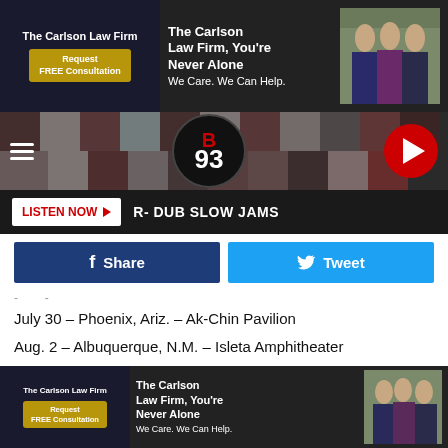[Figure (screenshot): The Carlson Law Firm advertisement banner at top of page]
[Figure (screenshot): B93 radio station navigation header with hamburger menu, B93 logo, and play button]
[Figure (screenshot): Listen Now bar with R-DUB SLOW JAMS label]
[Figure (screenshot): Facebook Share and Twitter Tweet social sharing buttons]
July 30 – Phoenix, Ariz. – Ak-Chin Pavilion
Aug. 2 – Albuquerque, N.M. – Isleta Amphitheater
Aug. 3 – El Paso, Texas – UTEP Don Haskins Center
Aug. 5 – Austin, Texas – Germania Insurance Amphitheater
Aug. 6 – Houston, Texas – Cynthia Woods Mitchell Pavilion
Aug. 7 – Dallas, Texas – Dos Equis Pavilion
Aug. 8 – Rogers, Ariz. – Walmart AMP
[Figure (screenshot): The Carlson Law Firm advertisement banner at bottom of page]